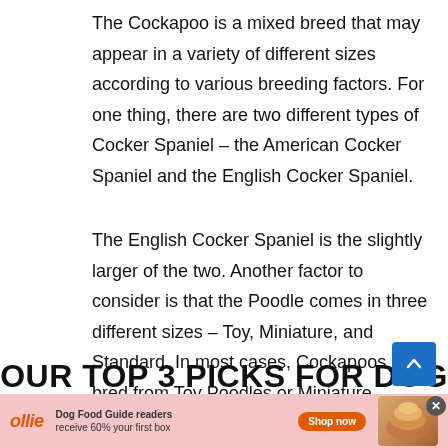The Cockapoo is a mixed breed that may appear in a variety of different sizes according to various breeding factors. For one thing, there are two different types of Cocker Spaniel – the American Cocker Spaniel and the English Cocker Spaniel.
The English Cocker Spaniel is the slightly larger of the two. Another factor to consider is that the Poodle comes in three different sizes – Toy, Miniature, and Standard. In most cases, Cockapoos are bred from Toy Poodles or Miniature Poodles.
OUR TOP 3 PICKS FOR DOG FOODS FOR COCKAPOOS
[Figure (other): Advertisement banner for Ollie dog food: pink background, Ollie logo in orange italic, text 'Dog Food Guide readers receive 60% your first box', orange 'Shop now' button, food image on right, close button (X) top right]